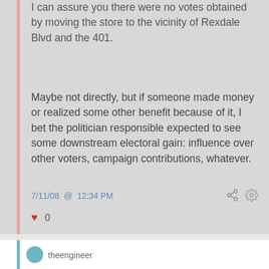I can assure you there were no votes obtained by moving the store to the vicinity of Rexdale Blvd and the 401.
Maybe not directly, but if someone made money or realized some other benefit because of it, I bet the politician responsible expected to see some downstream electoral gain: influence over other voters, campaign contributions, whatever.
7/11/08 @ 12:34 PM
0
theengineer